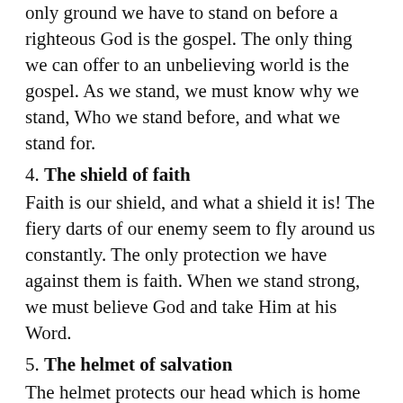only ground we have to stand on before a righteous God is the gospel. The only thing we can offer to an unbelieving world is the gospel. As we stand, we must know why we stand, Who we stand before, and what we stand for.
4. The shield of faith
Faith is our shield, and what a shield it is! The fiery darts of our enemy seem to fly around us constantly. The only protection we have against them is faith. When we stand strong, we must believe God and take Him at his Word.
5. The helmet of salvation
The helmet protects our head which is home to our brain. Our brain is synonymous with our mind. We must know we are saved. We must know about our salvation. We must keep our mind clear and clean before God by constantly reminding ourselves of His wonderful salvation He has provided to us. Do not let the enemy inside your head. Keep your helmet on. You are a child of God because of your salvation.
6. The sword of the Spirit